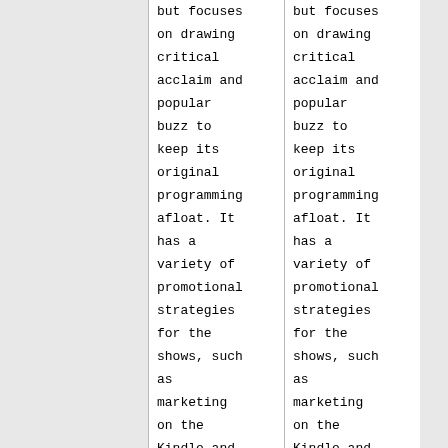but focuses on drawing critical acclaim and popular buzz to keep its original programming afloat. It has a variety of promotional strategies for the shows, such as marketing on the Kindle and iPad, as well as
but focuses on drawing critical acclaim and popular buzz to keep its original programming afloat. It has a variety of promotional strategies for the shows, such as marketing on the Kindle and iPad, as well as